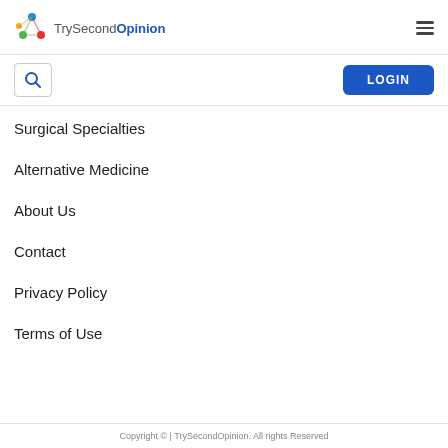[Figure (logo): TrySecondOpinion logo with colorful circular icon and text 'TrySecond' in gray and 'Opinion' in blue]
Surgical Specialties
Alternative Medicine
About Us
Contact
Privacy Policy
Terms of Use
Copyright © | TrySecondOpinion. All rights Reserved